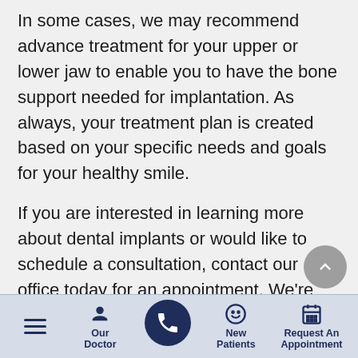In some cases, we may recommend advance treatment for your upper or lower jaw to enable you to have the bone support needed for implantation. As always, your treatment plan is created based on your specific needs and goals for your healthy smile.
If you are interested in learning more about dental implants or would like to schedule a consultation, contact our office today for an appointment. We're here to help restore the health and beauty of your smile.
Hamburger menu | Our Doctor | Phone | New Patients | Request An Appointment